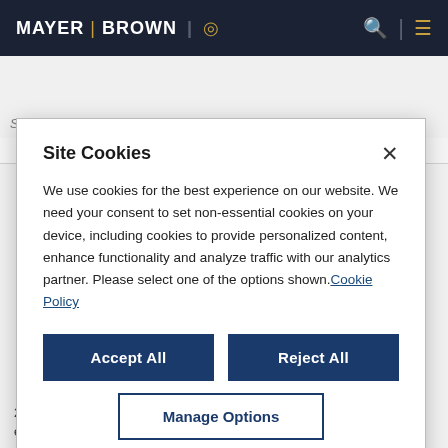[Figure (screenshot): Mayer Brown law firm website navigation bar with dark navy background, logo text MAYER | BROWN with globe icon, search icon and hamburger menu in gold]
Übersicht
System & NIMBELMERSICH, IIIIIII WE LIMI MILLI/
Site Cookies
We use cookies for the best experience on our website. We need your consent to set non-essential cookies on your device, including cookies to provide personalized content, enhance functionality and analyze traffic with our analytics partner. Please select one of the options shown. Cookie Policy
Accept All
Reject All
Manage Options
20-11, discussed its concerns relating to sales of practices and the non-essential cookies on your